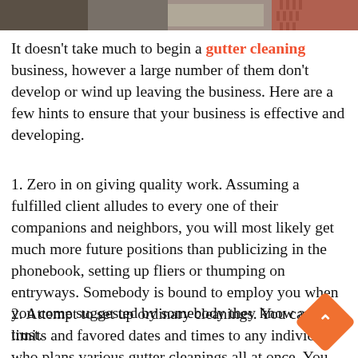[Figure (photo): Partial photo strip at the top of the page showing what appears to be a house exterior with gutters and brick, cropped.]
It doesn't take much to begin a gutter cleaning business, however a large number of them don't develop or wind up leaving the business. Here are a few hints to ensure that your business is effective and developing.
1. Zero in on giving quality work. Assuming a fulfilled client alludes to every one of their companions and neighbors, you will most likely get much more future positions than publicizing in the phonebook, setting up fliers or thumping on entryways. Somebody is bound to employ you when you come suggested by somebody they know and trust.
2. Attempt to set up ordinary cleanings. You can offer limits and favored dates and times to any individual who plans various gutter cleanings all at once. You